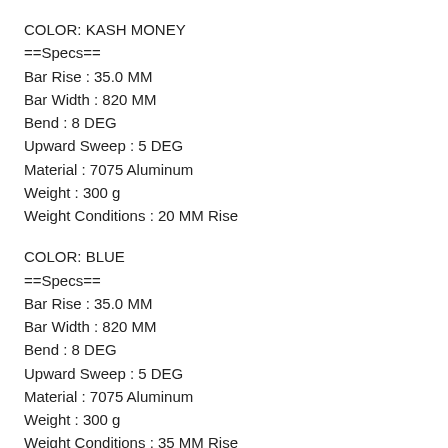COLOR: KASH MONEY
==Specs==
Bar Rise : 35.0 MM
Bar Width : 820 MM
Bend : 8 DEG
Upward Sweep : 5 DEG
Material : 7075 Aluminum
Weight : 300 g
Weight Conditions : 20 MM Rise
COLOR: BLUE
==Specs==
Bar Rise : 35.0 MM
Bar Width : 820 MM
Bend : 8 DEG
Upward Sweep : 5 DEG
Material : 7075 Aluminum
Weight : 300 g
Weight Conditions : 35 MM Rise